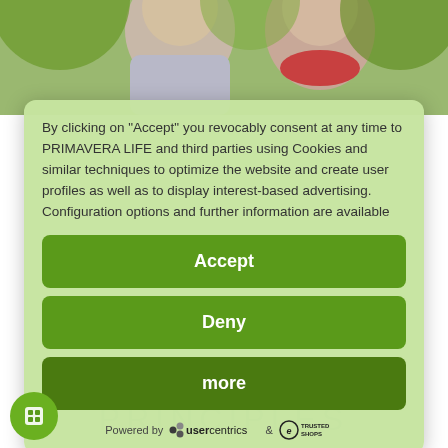[Figure (photo): Two smiling people (man and woman) photographed outdoors, partially visible at the top of the page]
By clicking on "Accept" you revocably consent at any time to PRIMAVERA LIFE and third parties using Cookies and similar techniques to optimize the website and create user profiles as well as to display interest-based advertising. Configuration options and further information are available
Accept
Deny
more
Powered by usercentrics & TRUSTED SHOPS
PRINCIPLES